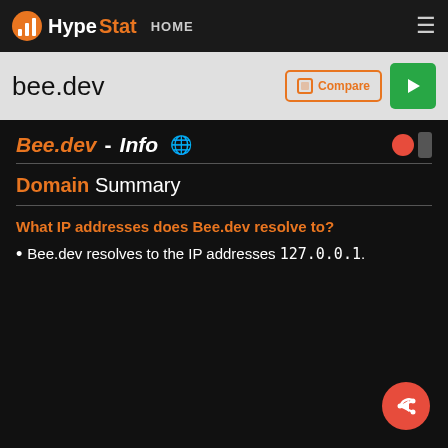HypeStat HOME ≡
bee.dev
Bee.dev - Info
Domain Summary
What IP addresses does Bee.dev resolve to?
Bee.dev resolves to the IP addresses 127.0.0.1.